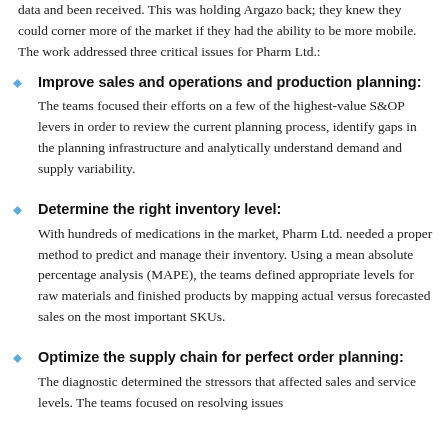data and been received. This was holding Argazo back; they knew they could corner more of the market if they had the ability to be more mobile. The work addressed three critical issues for Pharm Ltd.:
Improve sales and operations and production planning: The teams focused their efforts on a few of the highest-value S&OP levers in order to review the current planning process, identify gaps in the planning infrastructure and analytically understand demand and supply variability.
Determine the right inventory level: With hundreds of medications in the market, Pharm Ltd. needed a proper method to predict and manage their inventory. Using a mean absolute percentage analysis (MAPE), the teams defined appropriate levels for raw materials and finished products by mapping actual versus forecasted sales on the most important SKUs.
Optimize the supply chain for perfect order planning: The diagnostic determined the stressors that affected sales and service levels. The teams focused on resolving issues